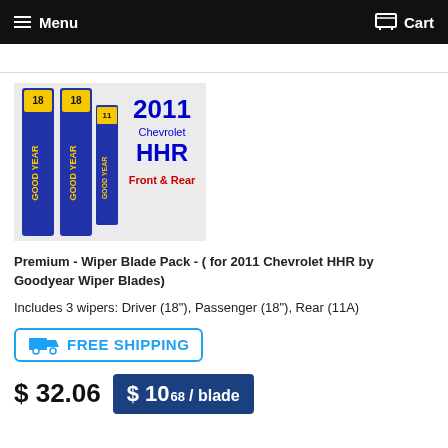Menu  Cart
[Figure (photo): Product image showing three Goodyear wiper blades with text overlay: 2011 Chevrolet HHR Front & Rear]
Premium - Wiper Blade Pack - ( for 2011 Chevrolet HHR by Goodyear Wiper Blades)
Includes 3 wipers: Driver (18"), Passenger (18"), Rear (11A)
[Figure (infographic): FREE SHIPPING badge with truck icon]
$ 32.06  $ 10⁶⁸ / blade